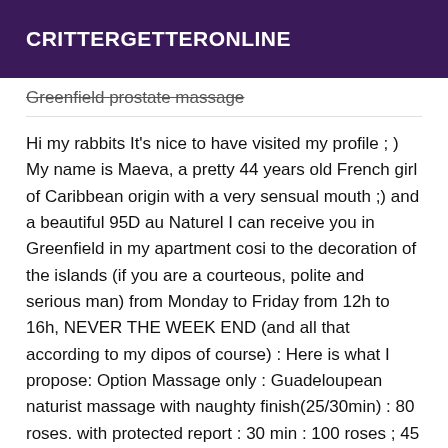CRITTERGETTERONLINE
Greenfield prostate massage
Hi my rabbits It's nice to have visited my profile ; ) My name is Maeva, a pretty 44 years old French girl of Caribbean origin with a very sensual mouth ;) and a beautiful 95D au Naturel I can receive you in Greenfield in my apartment cosi to the decoration of the islands (if you are a courteous, polite and serious man) from Monday to Friday from 12h to 16h, NEVER THE WEEK END (and all that according to my dipos of course) : Here is what I propose: Option Massage only : Guadeloupean naturist massage with naughty finish(25/30min) : 80 roses. with protected report : 30 min : 100 roses ; 45 min : 120 ; 1h : 140 ; 90 min : 200 ; 2h : 260 ; 3h 380 ; (nothing is NEGOCIABLE, we are not at the market : it is possible to add on the spot if you want more time) : Guadeloupean massage Body/body naturist and tantric, protected blowjob/nature ; Deep throat ; oral ejacc, not faccial (and I do not swallow) ;